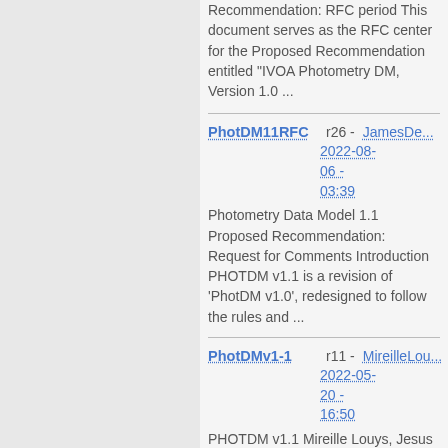Recommendation: RFC period This document serves as the RFC center for the Proposed Recommendation entitled "IVOA Photometry DM, Version 1.0 ...
PhotDM11RFC   r26 -   JamesDe...   2022-08-06 - 03:39
Photometry Data Model 1.1 Proposed Recommendation: Request for Comments Introduction PHOTDM v1.1 is a revision of 'PhotDM v1.0', redesigned to follow the rules and ...
PhotDMv1-1   r11 -   MireilleLou...   2022-05-20 - 16:50
PHOTDM v1.1 Mireille Louys, Jesus Salgado, ... PHOTDM v1.1 is a